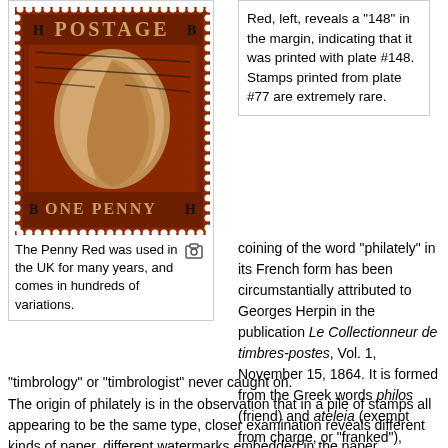[Figure (photo): A Penny Red stamp with perforated edges, showing Queen Victoria's profile in the center. Red/brown colored stamp with 'POSTAGE' at top, 'ONE PENNY' at bottom, with letters B and H in corners.]
The Penny Red was used in the UK for many years, and comes in hundreds of variations.
Red, left, reveals a "148" in the margin, indicating that it was printed with plate #148. Stamps printed from plate #77 are extremely rare.
coining of the word "philately" in its French form has been circumstantially attributed to Georges Herpin in the publication Le Collectionneur de timbres-postes, Vol. 1, November 15, 1864. It is formed from the Greek words philos (friend) and ateleia (exempt from charge, or "franked"), which is a stretch to relate to the study of stamps, but the alternatives of "timbrophily" & "timbrology" or "timbrologist" never caught on.
The origin of philately is in the observation that in a pile of stamps all appearing to be the same type, closer examination reveals different kinds of paper, different watermarks embedded in the paper, variations in colour shades, different perforations, and other kinds of differences. Comparison with records of postal authorities may or may not show that the variations were intentional, which leads to further inquiry as to how the changes could have happened, and why. To make things more interesting,